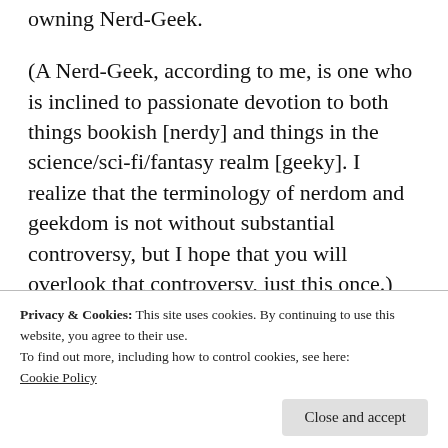owning Nerd-Geek.
(A Nerd-Geek, according to me, is one who is inclined to passionate devotion to both things bookish [nerdy] and things in the science/sci-fi/fantasy realm [geeky]. I realize that the terminology of nerdom and geekdom is not without substantial controversy, but I hope that you will overlook that controversy, just this once.)
Nerd-Geeks,
Privacy & Cookies: This site uses cookies. By continuing to use this website, you agree to their use.
To find out more, including how to control cookies, see here: Cookie Policy